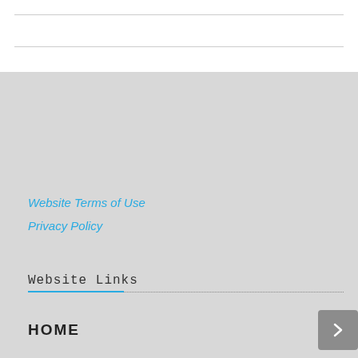Website Terms of Use
Privacy Policy
Website Links
HOME